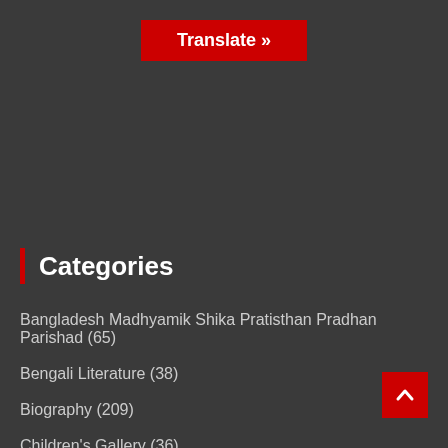[Figure (other): Red 'Translate »' button at the top center of the page]
Categories
Bangladesh Madhyamik Shika Pratisthan Pradhan Parishad (65)
Bengali Literature (38)
Biography (209)
Children's Gallery (36)
Education (548)
Entertainment (325)
Fashion (68)